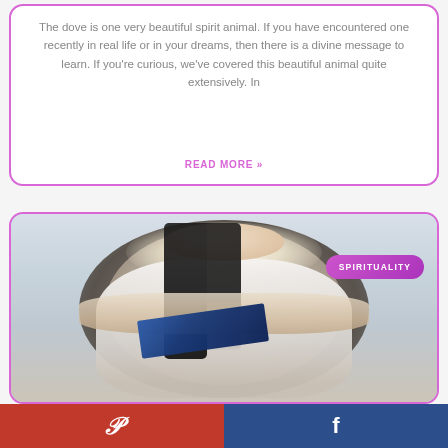The dove is one very beautiful spirit animal. If you have encountered one recently in real life or in your dreams, then there is a divine message to learn. If you're curious, we've covered this beautiful animal quite extensively. In
READ MORE »
[Figure (photo): A woman with long dark braided hair wearing white clothing, sitting cross-legged in a large decorative round hanging chair, reading a blue book. The background is light-colored.]
SPIRITUALITY